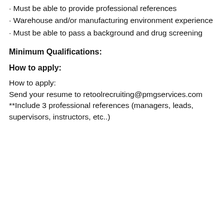· Must be able to provide professional references
· Warehouse and/or manufacturing environment experience
· Must be able to pass a background and drug screening
Minimum Qualifications:
How to apply:
How to apply:
Send your resume to retoolrecruiting@pmgservices.com
**Include 3 professional references (managers, leads, supervisors, instructors, etc..)